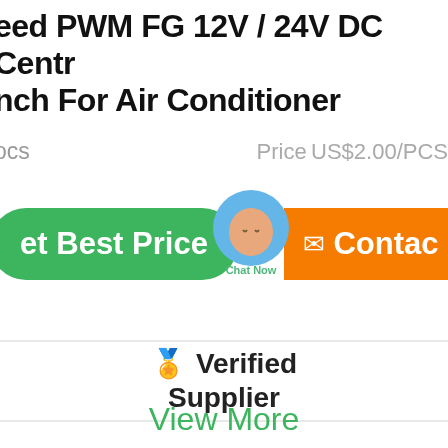eed PWM FG 12V / 24V DC Centr
nch For Air Conditioner
ocs   Price US$2.00/PCS
[Figure (screenshot): Green 'Get Best Price' button and orange 'Contact' button with a chat bubble overlay showing 'Chat Now']
[Figure (infographic): Verified Supplier badge with crown emoji, 'Verified' and 'Supplier' text on white background between two dividers]
View More